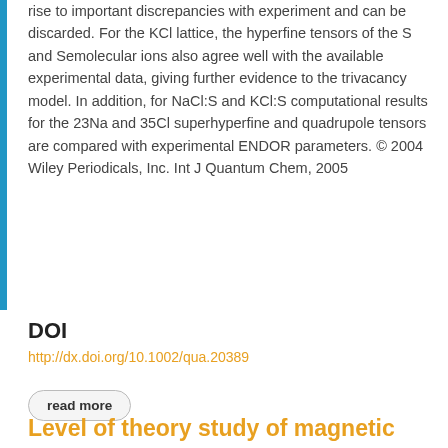rise to important discrepancies with experiment and can be discarded. For the KCl lattice, the hyperfine tensors of the S and Semolecular ions also agree well with the available experimental data, giving further evidence to the trivacancy model. In addition, for NaCl:S and KCl:S computational results for the 23Na and 35Cl superhyperfine and quadrupole tensors are compared with experimental ENDOR parameters. © 2004 Wiley Periodicals, Inc. Int J Quantum Chem, 2005
DOI
http://dx.doi.org/10.1002/qua.20389
read more
Level of theory study of magnetic